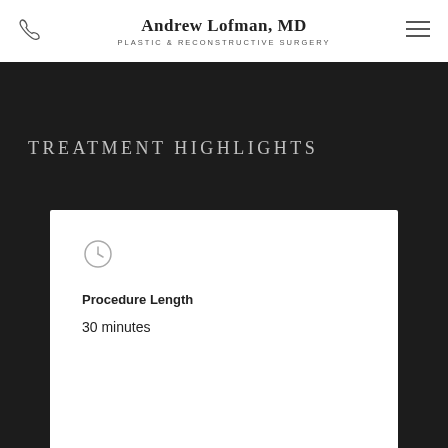Andrew Lofman, MD — Plastic & Reconstructive Surgery
TREATMENT HIGHLIGHTS
Procedure Length
30 minutes